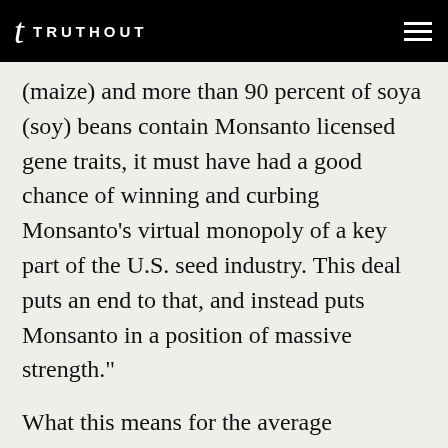TRUTHOUT
(maize) and more than 90 percent of soya (soy) beans contain Monsanto licensed gene traits, it must have had a good chance of winning and curbing Monsanto’s virtual monopoly of a key part of the U.S. seed industry. This deal puts an end to that, and instead puts Monsanto in a position of massive strength.”
What this means for the average consumer, of course, is more GMOs hitting the market in the future with less regulatory hoops through which